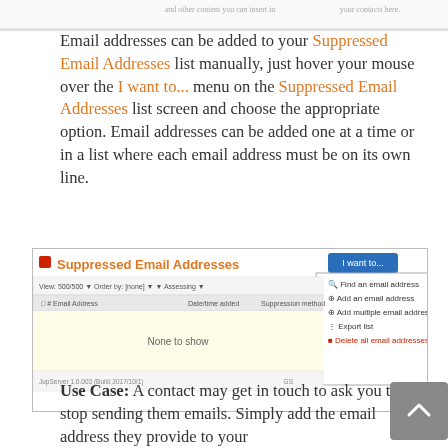[Figure (screenshot): Partial screenshot at top of page showing interface content from previous page]
Email addresses can be added to your Suppressed Email Addresses list manually, just hover your mouse over the I want to... menu on the Suppressed Email Addresses list screen and choose the appropriate option. Email addresses can be added one at a time or in a list where each email address must be on its own line.
[Figure (screenshot): Screenshot of the Suppressed Email Addresses interface screen showing a table with columns for Email Address, Date/time added, and Suppression method, with 'None to show' message, and an open 'I want to...' dropdown menu with options: Find an email address, Add an email address, Add multiple email addresses, Export list, Delete all email addresses.]
Use Case: A contact may get in touch to ask you to stop sending them emails. Simply add the email address they provide to your